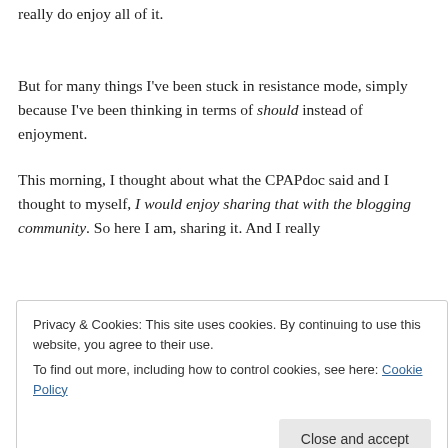really do enjoy all of it.
But for many things I've been stuck in resistance mode, simply because I've been thinking in terms of should instead of enjoyment.
This morning, I thought about what the CPAPdoc said and I thought to myself, I would enjoy sharing that with the blogging community. So here I am, sharing it. And I really
Privacy & Cookies: This site uses cookies. By continuing to use this website, you agree to their use. To find out more, including how to control cookies, see here: Cookie Policy. Close and accept.
house sale and apartment hunt, but again, I enjoy those